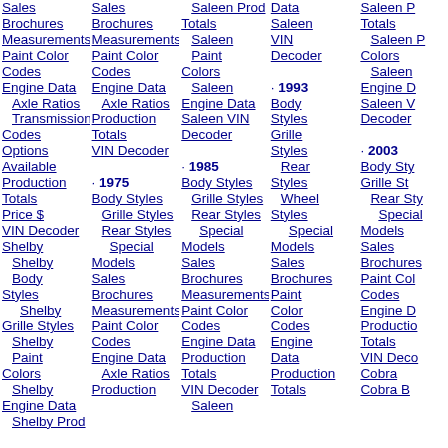Sales Brochures Measurements Paint Color Codes Engine Data Axle Ratios Transmission Codes Options Available Production Totals Price $ VIN Decoder Shelby Shelby Body Styles Shelby Grille Styles Shelby Paint Colors Shelby Engine Data Shelby Prod
Sales Brochures Measurements Paint Color Codes Engine Data Axle Ratios Production Totals VIN Decoder · 1975 Body Styles Grille Styles Rear Styles Special Models Sales Brochures Measurements Paint Color Codes Engine Data Axle Ratios Production
Saleen Prod Totals Saleen Paint Colors Saleen Engine Data Saleen VIN Decoder · 1985 Body Styles Grille Styles Rear Styles Special Models Sales Brochures Measurements Paint Color Codes Engine Data Production Totals VIN Decoder Saleen
Data Saleen VIN Decoder · 1993 Body Styles Grille Styles Rear Styles Wheel Styles Special Models Sales Brochures Paint Color Codes Engine Data Production Totals
Saleen P Totals Saleen P Colors Saleen Engine D Saleen V Decoder · 2003 Body Sty Grille St Rear Sty Special Models Sales Brochures Paint Col Codes Engine D Productio Totals VIN Deco Cobra Cobra B